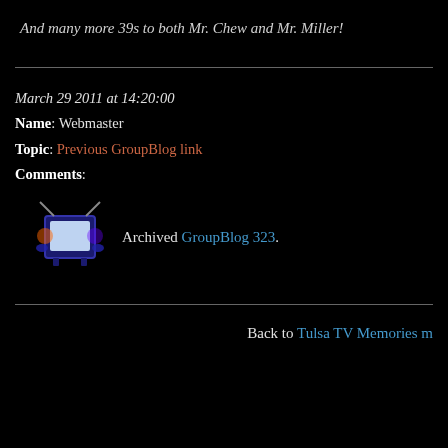And many more 39s to both Mr. Chew and Mr. Miller!
March 29 2011 at 14:20:00
Name: Webmaster
Topic: Previous GroupBlog link
Comments:
Archived GroupBlog 323.
Back to Tulsa TV Memories m